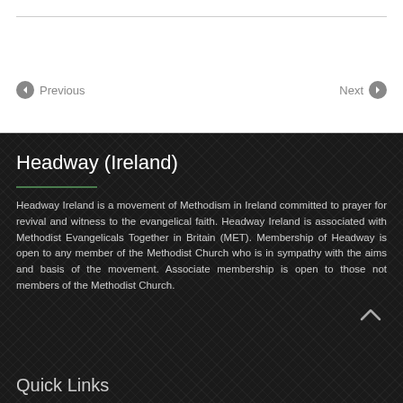Previous | Next
Headway (Ireland)
Headway Ireland is a movement of Methodism in Ireland committed to prayer for revival and witness to the evangelical faith. Headway Ireland is associated with Methodist Evangelicals Together in Britain (MET). Membership of Headway is open to any member of the Methodist Church who is in sympathy with the aims and basis of the movement. Associate membership is open to those not members of the Methodist Church.
Quick Links